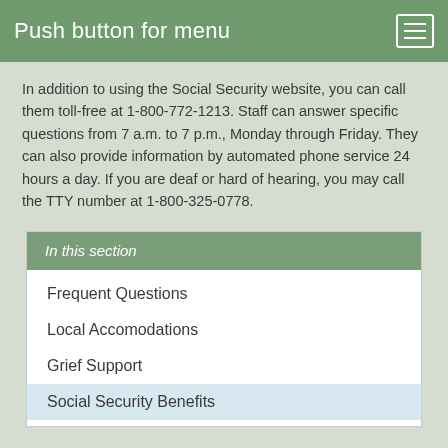Push button for menu
In addition to using the Social Security website, you can call them toll-free at 1-800-772-1213.  Staff can answer specific questions from 7 a.m. to 7 p.m., Monday through Friday.  They can also provide information by automated phone service 24 hours a day.  If you are deaf or hard of hearing, you may call the TTY number at 1-800-325-0778.
In this section
Frequent Questions
Local Accomodations
Grief Support
Social Security Benefits